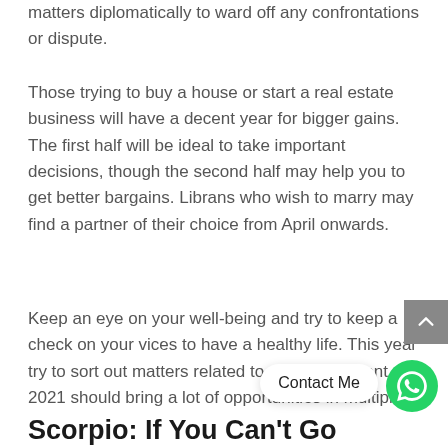matters diplomatically to ward off any confrontations or dispute.
Those trying to buy a house or start a real estate business will have a decent year for bigger gains. The first half will be ideal to take important decisions, though the second half may help you to get better bargains. Librans who wish to marry may find a partner of their choice from April onwards.
Keep an eye on your well-being and try to keep a check on your vices to have a healthy life. This year try to sort out matters related to your home front. 2021 should bring a lot of opportunities in multiple...
Scorpio: If You Can't Go